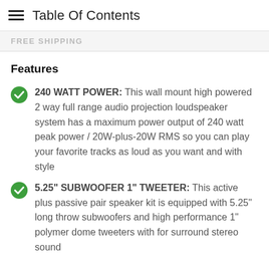Table Of Contents
FREE SHIPPING
Features
240 WATT POWER: This wall mount high powered 2 way full range audio projection loudspeaker system has a maximum power output of 240 watt peak power / 20W-plus-20W RMS so you can play your favorite tracks as loud as you want and with style
5.25" SUBWOOFER 1" TWEETER: This active plus passive pair speaker kit is equipped with 5.25" long throw subwoofers and high performance 1" polymer dome tweeters with for surround stereo sound